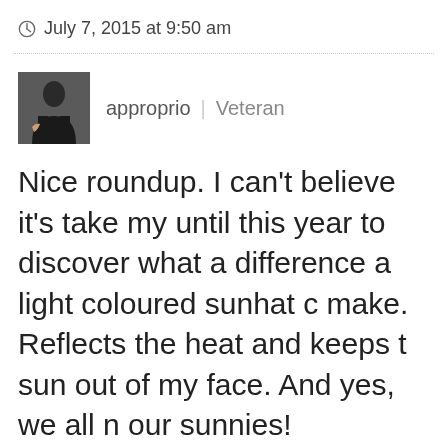© July 7, 2015 at 9:50 am
[Figure (photo): User avatar photo of a person in a black outfit]
approprio | Veteran
Nice roundup. I can't believe it's take my until this year to discover what a difference a light coloured sunhat c make. Reflects the heat and keeps t sun out of my face. And yes, we all n our sunnies!